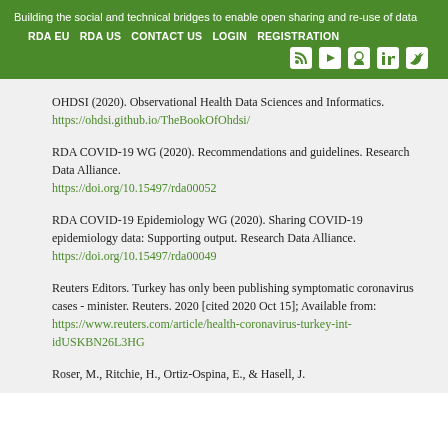Building the social and technical bridges to enable open sharing and re-use of data
RDA EU   RDA US   CONTACT US   LOGIN   REGISTRATION
OHDSI (2020). Observational Health Data Sciences and Informatics. https://ohdsi.github.io/TheBookOfOhdsi/
RDA COVID-19 WG (2020). Recommendations and guidelines. Research Data Alliance. https://doi.org/10.15497/rda00052
RDA COVID-19 Epidemiology WG (2020). Sharing COVID-19 epidemiology data: Supporting output. Research Data Alliance. https://doi.org/10.15497/rda00049
Reuters Editors. Turkey has only been publishing symptomatic coronavirus cases - minister. Reuters. 2020 [cited 2020 Oct 15]; Available from: https://www.reuters.com/article/health-coronavirus-turkey-int-idUSKBN26L3HG
Roser, M., Ritchie, H., Ortiz-Ospina, E., & Hasell, J.